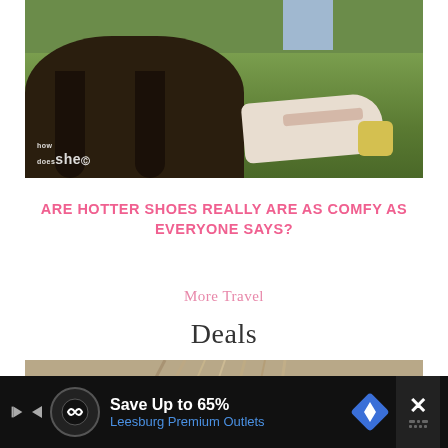[Figure (photo): Outdoor photo showing legs in jeans wearing white and yellow sneakers, with a dark tree stump/structure and grass in the background. Watermark 'how does she?' in bottom left corner.]
ARE HOTTER SHOES REALLY ARE AS COMFY AS EVERYONE SAYS?
More Travel
Deals
[Figure (photo): Partial photo of a person's head showing blonde hair from above/behind.]
[Figure (screenshot): Advertisement banner: 'Save Up to 65% Leesburg Premium Outlets' with navigation arrows, logo circle with infinity/map symbol, and a close button.]